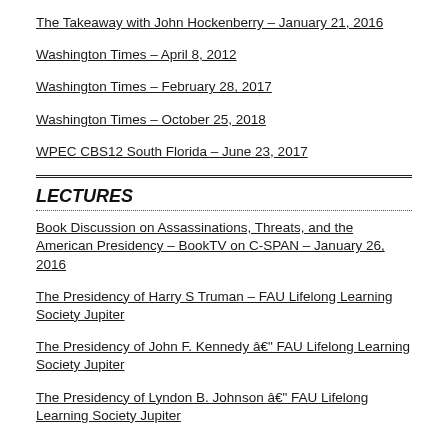The Takeaway with John Hockenberry – January 21, 2016
Washington Times – April 8, 2012
Washington Times – February 28, 2017
Washington Times – October 25, 2018
WPEC CBS12 South Florida – June 23, 2017
LECTURES
Book Discussion on Assassinations, Threats, and the American Presidency – BookTV on C-SPAN – January 26, 2016
The Presidency of Harry S Truman – FAU Lifelong Learning Society Jupiter
The Presidency of John F. Kennedy – FAU Lifelong Learning Society Jupiter
The Presidency of Lyndon B. Johnson – FAU Lifelong Learning Society Jupiter